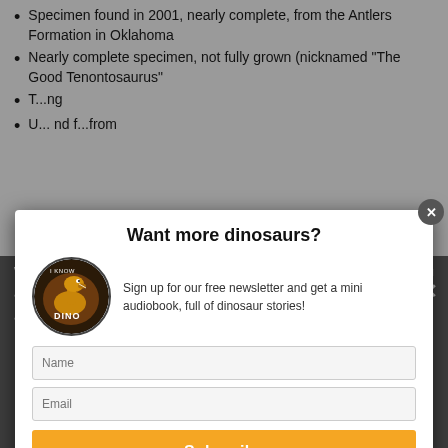Specimen found in 2001, nearly complete, from the Antlers Formation in Oklahoma
Nearly complete specimen, not fully grown (nicknamed "The Good Tenontosaurus"
[partially obscured] ng
[partially obscured] nd f... from s...
[partially obscured] and b...
[partially obscured] bility
We use... nce on our web... hat you
[partially obscured] (inflammation/... the bone) and on the left toe bo...
Also found a Brodie ab... a hole... the left fi...
[Figure (screenshot): Modal popup dialog with close (X) button in top-right corner, circular dinosaur logo image on the left, newsletter signup form with Name and Email fields, orange Subscribe button]
Want more dinosaurs?
Sign up for our free newsletter and get a mini audiobook, full of dinosaur stories!
Name
Email
Subscribe
Ok